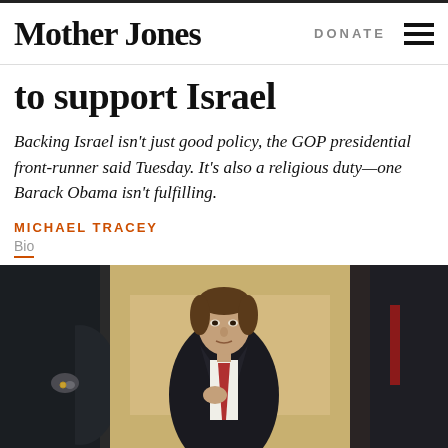Mother Jones
to support Israel
Backing Israel isn't just good policy, the GOP presidential front-runner said Tuesday. It's also a religious duty—one Barack Obama isn't fulfilling.
MICHAEL TRACEY
Bio
[Figure (photo): A man in a dark suit with a red tie stands in a corridor with his hand on his chest, flanked by other suited figures in the foreground.]